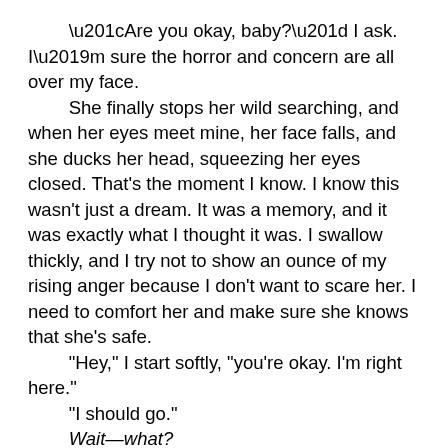“Are you okay, baby?” I ask. I’m sure the horror and concern are all over my face.
    She finally stops her wild searching, and when her eyes meet mine, her face falls, and she ducks her head, squeezing her eyes closed. That’s the moment I know. I know this wasn’t just a dream. It was a memory, and it was exactly what I thought it was. I swallow thickly, and I try not to show an ounce of my rising anger because I don’t want to scare her. I need to comfort her and make sure she knows that she’s safe.
    “Hey,” I start softly, “you’re okay. I’m right here.”
    “I should go.”
    Wait—what?
    “I have school in the morning, and you have work. It’s getting late. I’m sorry I passed out,” she says, getting off the couch. She moves to the chair where her coat and schoolbag are, and she starts shoving everything in.
    It takes me a moment to recover from the shock. This is not the reaction I was expecting.